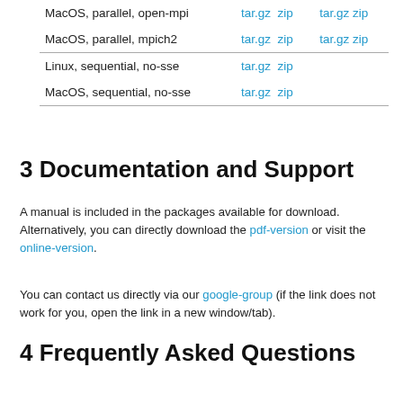| MacOS, parallel, open-mpi | tar.gz  zip | tar.gz  zip |
| MacOS, parallel, mpich2 | tar.gz  zip | tar.gz  zip |
| Linux, sequential, no-sse | tar.gz  zip |  |
| MacOS, sequential, no-sse | tar.gz  zip |  |
3 Documentation and Support
A manual is included in the packages available for download. Alternatively, you can directly download the pdf-version or visit the online-version.
You can contact us directly via our google-group (if the link does not work for you, open the link in a new window/tab).
4 Frequently Asked Questions